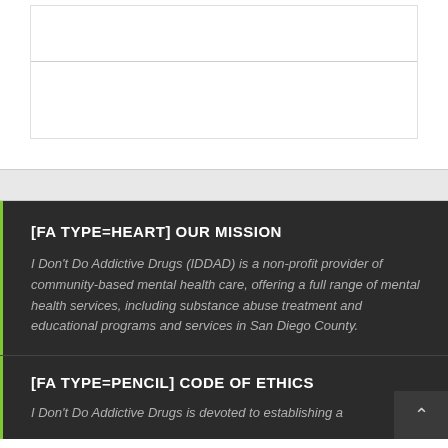[FA TYPE=HEART] OUR MISSION
I Don't Do Addictive Drugs (IDDAD) is a non-profit provider of community-based mental health care, offering a full range of mental health services, including substance abuse treatment and educational programs and services in San Diego County.
[FA TYPE=PENCIL] CODE OF ETHICS
I Don't Do Addictive Drugs is devoted to establishing a